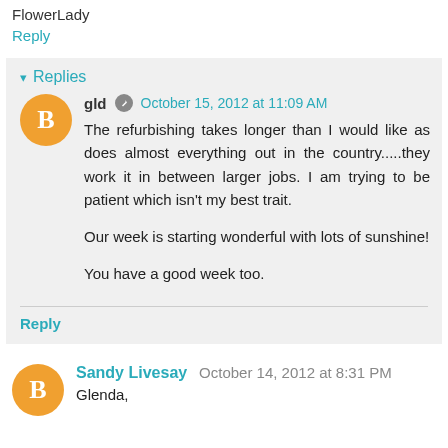FlowerLady
Reply
Replies
gld  October 15, 2012 at 11:09 AM
The refurbishing takes longer than I would like as does almost everything out in the country.....they work it in between larger jobs. I am trying to be patient which isn't my best trait.

Our week is starting wonderful with lots of sunshine!

You have a good week too.
Reply
Sandy Livesay  October 14, 2012 at 8:31 PM
Glenda,